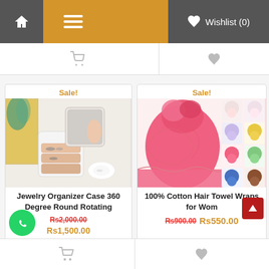Wishlist (0)
Sale!
[Figure (photo): Jewelry organizer case with mirror and rotating tiers, showing rings and accessories]
Jewelry Organizer Case 360 Degree Round Rotating
Rs2,000.00  Rs1,500.00
Sale!
[Figure (photo): 100% Cotton Hair Towel Wraps for Women in various colors including pink, purple, yellow, green, blue, brown]
100% Cotton Hair Towel Wraps for Wom…
Rs900.00  Rs550.00